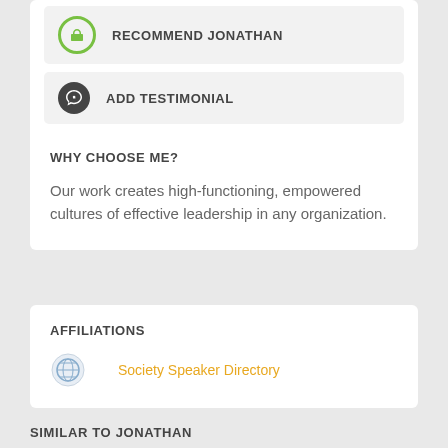RECOMMEND JONATHAN
ADD TESTIMONIAL
WHY CHOOSE ME?
Our work creates high-functioning, empowered cultures of effective leadership in any organization.
AFFILIATIONS
Society Speaker Directory
SIMILAR TO JONATHAN